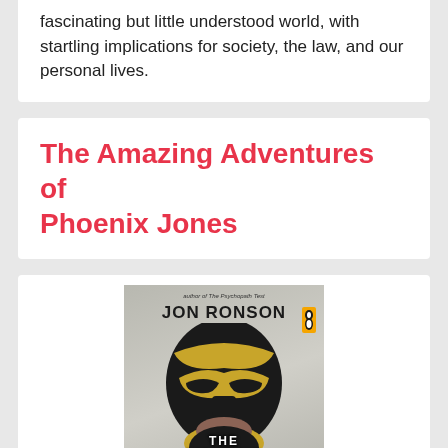fascinating but little understood world, with startling implications for society, the law, and our personal lives.
The Amazing Adventures of Phoenix Jones
[Figure (photo): Book cover of 'The Amazing Adventures of Phoenix Jones' by Jon Ronson, showing a person in a black and gold superhero mask and suit, with bold white text at the bottom displaying the book title.]